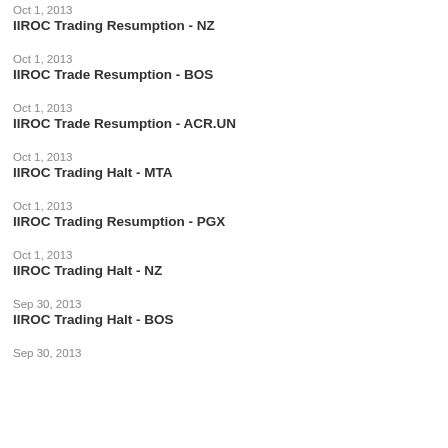Oct 1, 2013
IIROC Trading Resumption - NZ
Oct 1, 2013
IIROC Trade Resumption - BOS
Oct 1, 2013
IIROC Trade Resumption - ACR.UN
Oct 1, 2013
IIROC Trading Halt - MTA
Oct 1, 2013
IIROC Trading Resumption - PGX
Oct 1, 2013
IIROC Trading Halt - NZ
Sep 30, 2013
IIROC Trading Halt - BOS
Sep 30, 2013